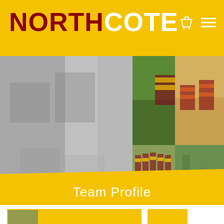NORTHCOTE
[Figure (photo): Collage of rugby team photos: black and white vintage youth team photo on left, color action shot of player catching rugby ball in center-top, women/girls team in maroon and orange striped jerseys on right, vintage color youth team in maroon and yellow hooped jerseys at bottom center, small outdoor photo bottom right]
Team Profile
[Figure (photo): Partial view of a photo card at bottom left]
[Figure (photo): Small yellow card at bottom right]